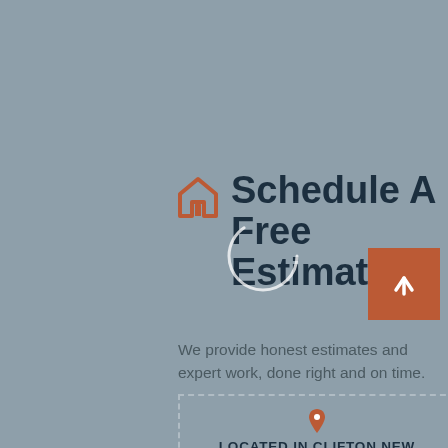Schedule A Free Estimate
[Figure (logo): House/home outline icon in burnt orange color]
We provide honest estimates and expert work, done right and on time.
LOCATED IN CLIFTON NEW JERSEY